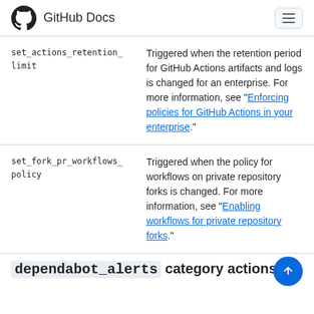GitHub Docs
| Action | Description |
| --- | --- |
| set_actions_retention_limit | Triggered when the retention period for GitHub Actions artifacts and logs is changed for an enterprise. For more information, see "Enforcing policies for GitHub Actions in your enterprise." |
| set_fork_pr_workflows_policy | Triggered when the policy for workflows on private repository forks is changed. For more information, see "Enabling workflows for private repository forks." |
dependabot_alerts category actions